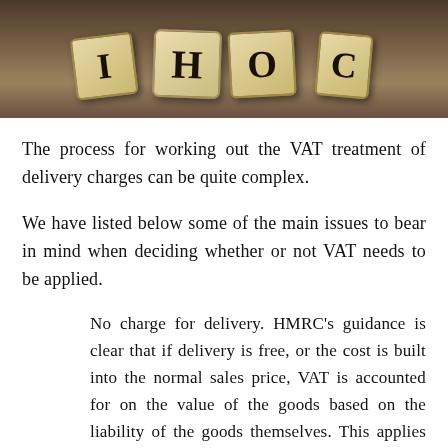[Figure (photo): Scrabble letter tiles spelling out letters including I, H, O on a wooden background]
The process for working out the VAT treatment of delivery charges can be quite complex.
We have listed below some of the main issues to bear in mind when deciding whether or not VAT needs to be applied.
No charge for delivery. HMRC’s guidance is clear that if delivery is free, or the cost is built into the normal sales price, VAT is accounted for on the value of the goods based on the liability of the goods themselves. This applies whether or not